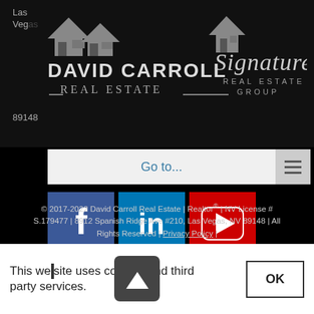[Figure (logo): David Carroll Real Estate and Signature Real Estate Group logos on dark background, with 'Las Vegas 89148' text]
Go to...
[Figure (infographic): Social media icons: Facebook (blue), LinkedIn (blue), YouTube (red), Instagram (teal-blue)]
© 2017-2022 David Carroll Real Estate | Realtor® | NV License # S.179477 | 8912 Spanish Ridge Ave #210, Las Vegas, NV 89148 | All Rights Reserved | Privacy Policy |
This website uses cookies and third party services.